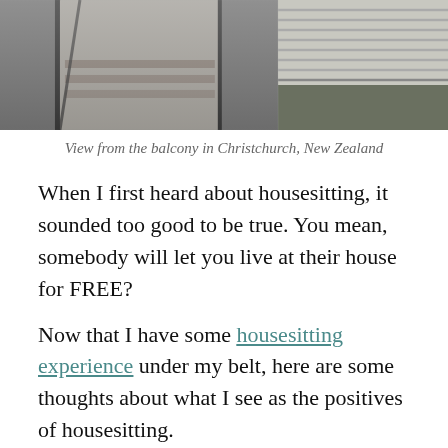[Figure (photo): Two photos side by side: left shows a balcony/deck view with glass and architectural elements in Christchurch, New Zealand; right shows a corrugated metal roof with vegetation.]
View from the balcony in Christchurch, New Zealand
When I first heard about housesitting, it sounded too good to be true. You mean, somebody will let you live at their house for FREE?
Now that I have some housesitting experience under my belt, here are some thoughts about what I see as the positives of housesitting.
1. Save money
This is the obvious one. Living somewhere